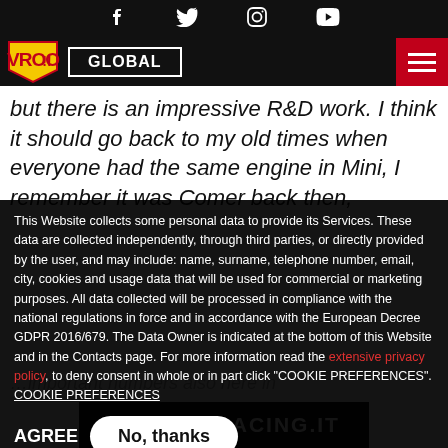Social media icons: Facebook, Twitter, Instagram, YouTube
VROOM GLOBAL navigation bar with hamburger menu
but there is an impressive R&D work. I think it should go back to my old times when everyone had the same engine in Mini, I remember it was Comer back then,
This Website collects some personal data to provide its Services. These data are collected independently, through third parties, or directly provided by the user, and may include: name, surname, telephone number, email, city, cookies and usage data that will be used for commercial or marketing purposes. All data collected will be processed in compliance with the national regulations in force and in accordance with the European Decree GDPR 2016/679. The Data Owner is indicated at the bottom of this Website and in the Contacts page. For more information read the extensive privacy policy, to deny consent in whole or in part click "COOKIE PREFERENCES". COOKIE PREFERENCES
AGREE | No, thanks
WWW.TMRACING.IT